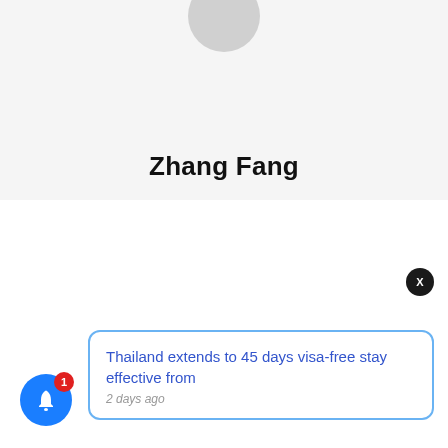[Figure (screenshot): User profile avatar circle at top of profile area]
Zhang Fang
[Figure (screenshot): Close/dismiss button (X) dark circle in top-right of notification popup area]
Thailand extends to 45 days visa-free stay effective from
2 days ago
[Figure (screenshot): Blue bell notification icon with red badge showing count 1]